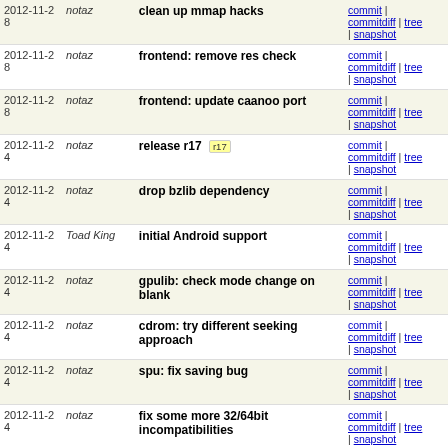| Date | Author | Commit message | Links |
| --- | --- | --- | --- |
| 2012-11-28 | notaz | clean up mmap hacks | commit | commitdiff | tree | snapshot |
| 2012-11-28 | notaz | frontend: remove res check | commit | commitdiff | tree | snapshot |
| 2012-11-28 | notaz | frontend: update caanoo port | commit | commitdiff | tree | snapshot |
| 2012-11-24 | notaz | release r17 [r17] | commit | commitdiff | tree | snapshot |
| 2012-11-24 | notaz | drop bzlib dependency | commit | commitdiff | tree | snapshot |
| 2012-11-24 | Toad King | initial Android support | commit | commitdiff | tree | snapshot |
| 2012-11-24 | notaz | gpulib: check mode change on blank | commit | commitdiff | tree | snapshot |
| 2012-11-24 | notaz | cdrom: try different seeking approach | commit | commitdiff | tree | snapshot |
| 2012-11-24 | notaz | spu: fix saving bug | commit | commitdiff | tree | snapshot |
| 2012-11-24 | notaz | fix some more 32/64bit incompatibilities | commit | commitdiff | tree | snapshot |
| 2012-11-24 | notaz | frontend: allow sstates without cd img | commit | commitdiff | tree | snapshot |
| 2012-11-24 | notaz | gte: avoid fno-strict-aliasing | commit | commitdiff | tree | snapshot |
| 2012-11-24 | notaz | fix various warnings | commit | commitdiff | tree | snapshot |
| 2012-11-24 | notaz | fix ARM build with --disable-... | commit |